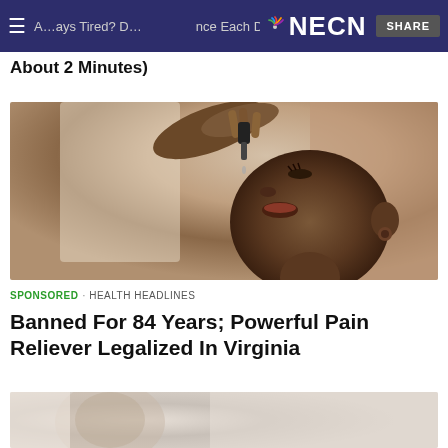Always Tired? Do This Once Each Day — NECN — SHARE
About 2 Minutes)
[Figure (photo): A woman tilting her head back, using a dropper to administer liquid drops into her mouth, photographed in close-up with warm indoor lighting.]
SPONSORED · HEALTH HEADLINES
Banned For 84 Years; Powerful Pain Reliever Legalized In Virginia
[Figure (photo): Partial view of a second photo at the bottom of the page, showing a blurred face and light background.]